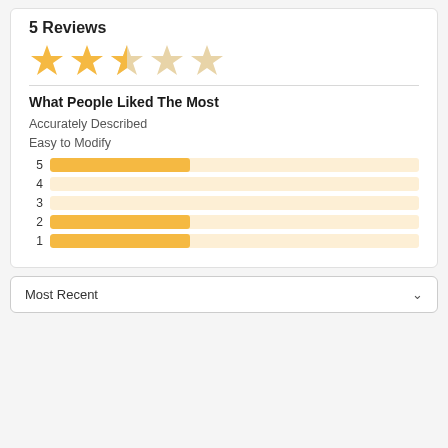5 Reviews
[Figure (infographic): 2.5 out of 5 star rating shown as 5 stars, 2 fully filled gold, 1 half-filled gold, 2 empty]
What People Liked The Most
Accurately Described
Easy to Modify
[Figure (bar-chart): Rating distribution]
Most Recent